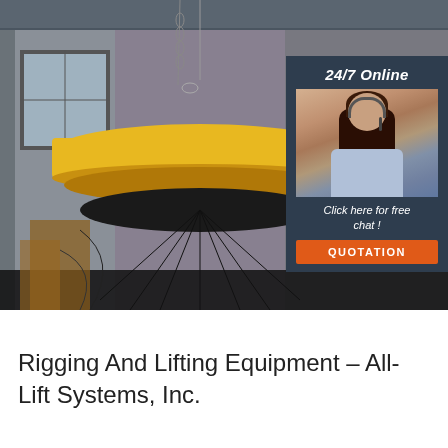[Figure (photo): Industrial photo of a large yellow circular electromagnetic lifting magnet suspended by heavy chains in a steel/metal facility. The magnet is shown hanging with a black undercarriage structure. In the upper-right corner is an overlay widget showing a customer service representative wearing a headset, with text '24/7 Online', 'Click here for free chat!', and a red QUOTATION button, on a dark navy background.]
Rigging And Lifting Equipment – All-Lift Systems, Inc.